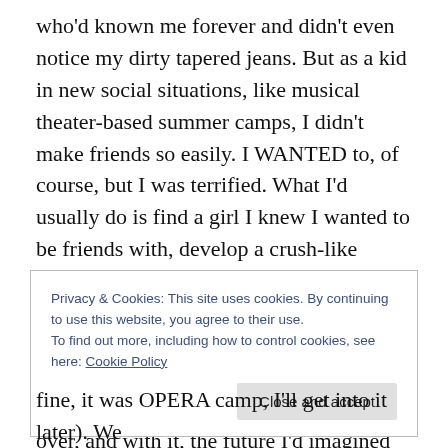who'd known me forever and didn't even notice my dirty tapered jeans. But as a kid in new social situations, like musical theater-based summer camps, I didn't make friends so easily. I WANTED to, of course, but I was terrified. What I'd usually do is find a girl I knew I wanted to be friends with, develop a crush-like obsession with her, and then be unable to speak in her presence. Sometimes, by the second-to-last day of camp, I'd have forged a mini friendship with her, which was incredibly elating! But then camp was over, and with it, the future I'd imagined for us.
Privacy & Cookies: This site uses cookies. By continuing to use this website, you agree to their use.
To find out more, including how to control cookies, see here: Cookie Policy
fine, it was OPERA camp, I'll get into it later). We